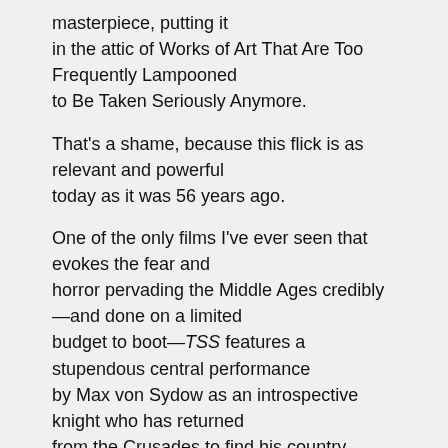masterpiece, putting it in the attic of Works of Art That Are Too Frequently Lampooned to Be Taken Seriously Anymore.
That's a shame, because this flick is as relevant and powerful today as it was 56 years ago.
One of the only films I've ever seen that evokes the fear and horror pervading the Middle Ages credibly—and done on a limited budget to boot—TSS features a stupendous central performance by Max von Sydow as an introspective knight who has returned from the Crusades to find his country ravaged by the plague. The surrounding cast, which includes Bibi Andersson and Nils Poppe as traveling actors, is brilliant, too, as is the wonderful, humor-filled (yes, humor!) script, brooding score and iconic cinematography. Of course, the black-clad, bald-headed Death also plays a part, in a memorable turn by Bengt Ekerot.
Is all of this worth making fun of? Perhaps. But I think the silliness has run its course. Now it's time to revisit this glorious